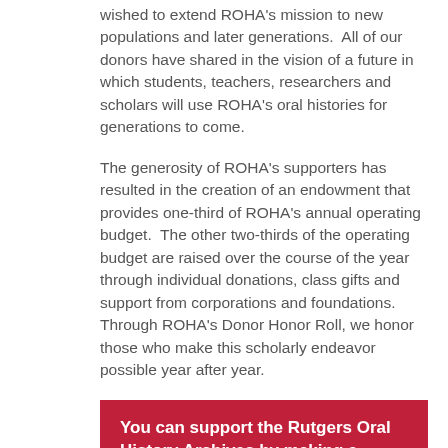wished to extend ROHA's mission to new populations and later generations.  All of our donors have shared in the vision of a future in which students, teachers, researchers and scholars will use ROHA's oral histories for generations to come.
The generosity of ROHA's supporters has resulted in the creation of an endowment that provides one-third of ROHA's annual operating budget.  The other two-thirds of the operating budget are raised over the course of the year through individual donations, class gifts and support from corporations and foundations.  Through ROHA's Donor Honor Roll, we honor those who make this scholarly endeavor possible year after year.
You can support the Rutgers Oral History Archives by making a secure online donation.
Please Note: The online version of the ROHA Donor Honor Roll will be updated monthly.  Print editions will